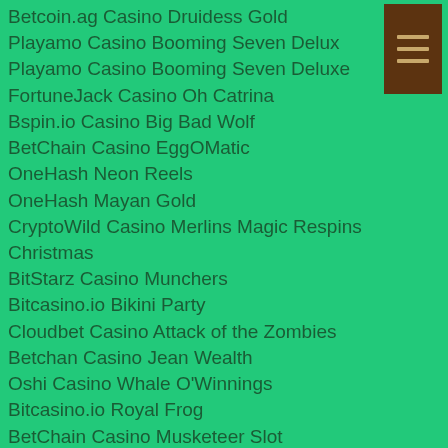Betcoin.ag Casino Druidess Gold
Playamo Casino Booming Seven Deluxe
FortuneJack Casino Oh Catrina
Bspin.io Casino Big Bad Wolf
BetChain Casino EggOMatic
OneHash Neon Reels
OneHash Mayan Gold
CryptoWild Casino Merlins Magic Respins Christmas
BitStarz Casino Munchers
Bitcasino.io Bikini Party
Cloudbet Casino Attack of the Zombies
Betchan Casino Jean Wealth
Oshi Casino Whale O'Winnings
Bitcasino.io Royal Frog
BetChain Casino Musketeer Slot
https://www.colormetokyo.com/profile/mechelleserrato18852130/profile
https://www.smilingtummies.org/profile/londadaddabbo16363475/profile